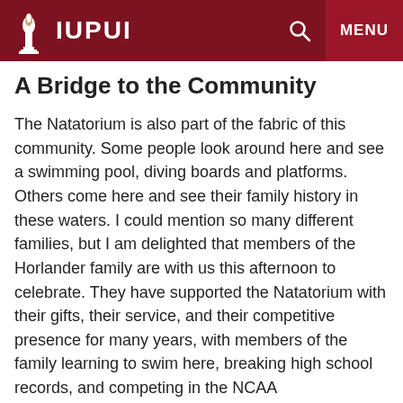IUPUI
A Bridge to the Community
The Natatorium is also part of the fabric of this community. Some people look around here and see a swimming pool, diving boards and platforms. Others come here and see their family history in these waters. I could mention so many different families, but I am delighted that members of the Horlander family are with us this afternoon to celebrate. They have supported the Natatorium with their gifts, their service, and their competitive presence for many years, with members of the family learning to swim here, breaking high school records, and competing in the NCAA Championships, among so many other memories. They exemplify the power of place—this magnificent place—in creating a legacy of achievement and family tradition that will last a